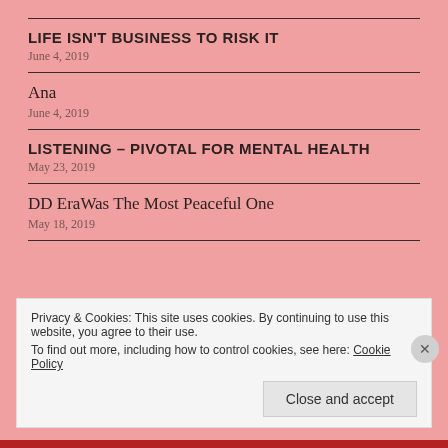LIFE ISN'T BUSINESS TO RISK IT
June 4, 2019
Ana
June 4, 2019
LISTENING – PIVOTAL FOR MENTAL HEALTH
May 23, 2019
DD EraWas The Most Peaceful One
May 18, 2019
Privacy & Cookies: This site uses cookies. By continuing to use this website, you agree to their use.
To find out more, including how to control cookies, see here: Cookie Policy
Close and accept